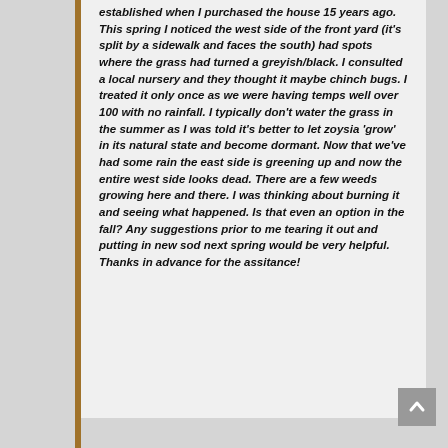established when I purchased the house 15 years ago. This spring I noticed the west side of the front yard (it's split by a sidewalk and faces the south) had spots where the grass had turned a greyish/black. I consulted a local nursery and they thought it maybe chinch bugs. I treated it only once as we were having temps well over 100 with no rainfall. I typically don't water the grass in the summer as I was told it's better to let zoysia 'grow' in its natural state and become dormant. Now that we've had some rain the east side is greening up and now the entire west side looks dead. There are a few weeds growing here and there. I was thinking about burning it and seeing what happened. Is that even an option in the fall? Any suggestions prior to me tearing it out and putting in new sod next spring would be very helpful. Thanks in advance for the assitance!